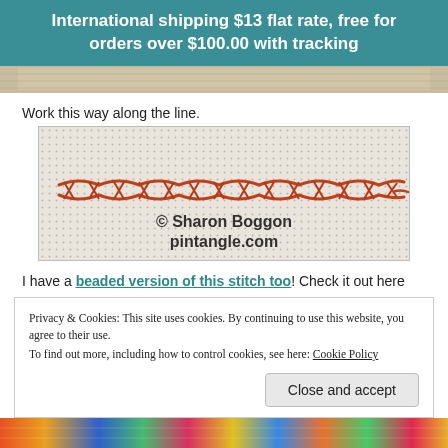International shipping $13 flat rate, free for orders over $100.00 with tracking
[Figure (photo): Top strip of a needlework/cross-stitch fabric image]
Work this way along the line.
[Figure (photo): Close-up of needlework canvas showing a horizontal line of chain or herringbone stitches in rust/brown thread. Watermark reads: © Sharon Boggon pintangle.com]
I have a beaded version of this stitch too! Check it out here
Privacy & Cookies: This site uses cookies. By continuing to use this website, you agree to their use. To find out more, including how to control cookies, see here: Cookie Policy
[Figure (photo): Bottom strip of colorful yarn/thread image]